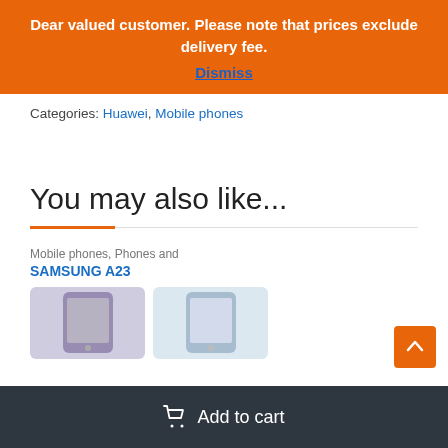Dear valued customer. Please note that prices exclude delivery fee.
Dismiss
Categories: Huawei, Mobile phones
You may also like...
Mobile phones, Phones and
SAMSUNG A23
Add to cart